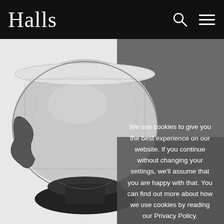Halls
[Figure (photo): A ornate silver bowl with dragon handles on a dark carved wooden stand, photographed against a white background.]
We use cookies to give you the best experience on our website. If you continue without changing your settings, we'll assume that you are happy with that. You can find out more about how we use cookies by reading our Privacy Policy.
OK